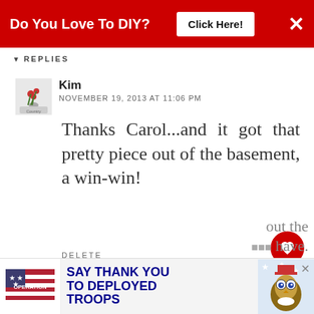Do You Love To DIY? Click Here! ×
REPLIES
Kim
NOVEMBER 19, 2013 AT 11:06 PM
Thanks Carol...and it got that pretty piece out of the basement, a win-win!
DELETE
REPLY
Judy at GoldCountryCottage
NOVEMBER 18, 2013 AT 2:27 AM
WHAT'S NEXT → Pretty in Purple ~ Tee...
SAY THANK YOU TO DEPLOYED TROOPS